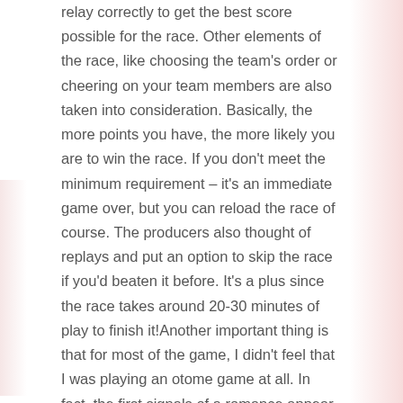relay correctly to get the best score possible for the race. Other elements of the race, like choosing the team's order or cheering on your team members are also taken into consideration. Basically, the more points you have, the more likely you are to win the race. If you don't meet the minimum requirement – it's an immediate game over, but you can reload the race of course. The producers also thought of replays and put an option to skip the race if you'd beaten it before. It's a plus since the race takes around 20-30 minutes of play to finish it!Another important thing is that for most of the game, I didn't feel that I was playing an otome game at all. In fact, the first signals of a romance appear in the second HALF of the game! So that's a big chunk of the story you first read before you get into your guy's route. Still, the love growing between the protagonist and one of the guys was entertaining and well incorporated into a very